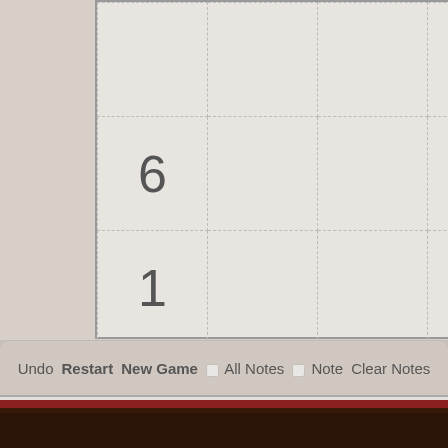[Figure (other): Partial Sudoku grid showing top 3 rows visible, with numbers: row1: 5,9,3; row2: 6; row3: 1,3,6,7,8,4]
Undo  Restart  New Game  □ All Notes  □ Note  Clear Notes
Click a line to quick load a puzzle.
[13100001000]1842.7.6........3.9..56....29..3.86...8...78.6..13....32.8
[13100011000]45.86...1.....29.8......9..48.36....2..2.8.5..5...36.77..1....
[13100021000]1975.8..4........5.8..23....31..6.87...8...68..3..92....65..9
[13100031000]63.87...1.....38.9......1..77.63....5..5.8.2..2...63.84..9....
[13100041000]6.7.24813        65.9.8.3..92.7..8..6.31.6.88.23